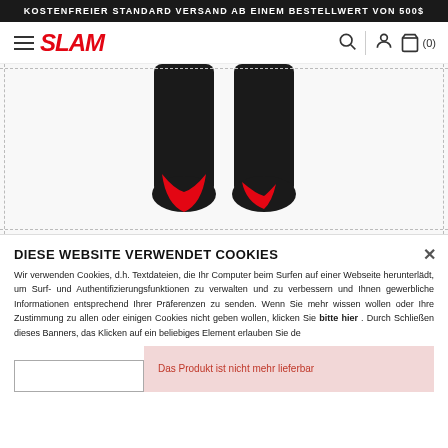KOSTENFREIER STANDARD VERSAND AB EINEM BESTELLWERT VON 500$
[Figure (logo): SLAM brand logo in red italic bold text]
[Figure (photo): Black sportswear pants/leggings with red accent shown from back, two views side by side]
DIESE WEBSITE VERWENDET COOKIES
Wir verwenden Cookies, d.h. Textdateien, die Ihr Computer beim Surfen auf einer Webseite herunterlädt, um Surf- und Authentifizierungsfunktionen zu verwalten und zu verbessern und Ihnen gewerbliche Informationen entsprechend Ihrer Präferenzen zu senden. Wenn Sie mehr wissen wollen oder Ihre Zustimmung zu allen oder einigen Cookies nicht geben wollen, klicken Sie bitte hier . Durch Schließen dieses Banners, das Klicken auf ein beliebiges Element erlauben Sie de
Das Produkt ist nicht mehr lieferbar